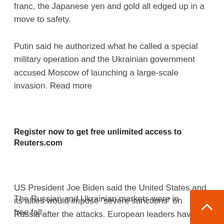franc, the Japanese yen and gold all edged up in a move to safety.
Putin said he authorized what he called a special military operation and the Ukrainian government accused Moscow of launching a large-scale invasion. Read more
Register now to get free unlimited access to Reuters.com
Register
US President Joe Biden said the United States and its allies would impose “severe sanctions” on Russia after the attacks. European leaders have said they will freeze assets and remove Russian banks from their financial markets. Read more
The Russian and Ukrainian markets were in free fall.